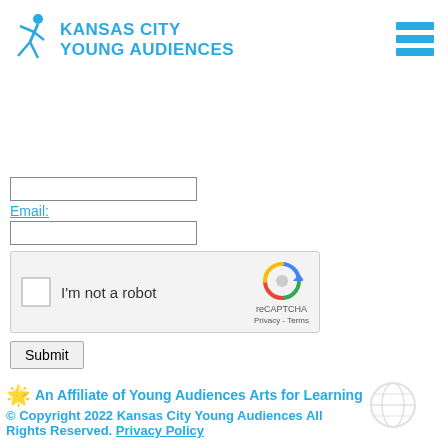[Figure (logo): Kansas City Young Audiences logo with cyan running figure and text]
[Figure (illustration): Hamburger menu icon with three cyan horizontal bars]
Email:
[Figure (screenshot): reCAPTCHA widget with checkbox labeled I'm not a robot and reCAPTCHA logo]
Submit
An Affiliate of Young Audiences Arts for Learning © Copyright 2022 Kansas City Young Audiences All Rights Reserved. Privacy Policy